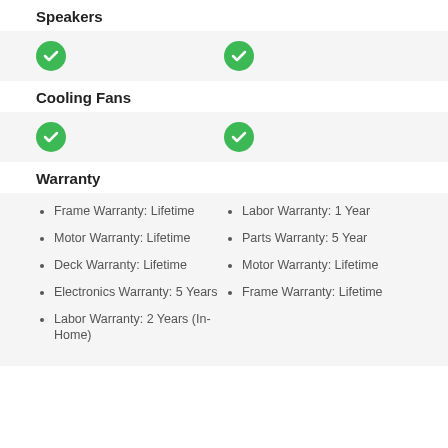Speakers
[Figure (other): Two green checkmark icons in a row indicating both products have Speakers]
Cooling Fans
[Figure (other): Two green checkmark icons in a row indicating both products have Cooling Fans]
Warranty
Frame Warranty: Lifetime
Motor Warranty: Lifetime
Deck Warranty: Lifetime
Electronics Warranty: 5 Years
Labor Warranty: 2 Years (In-Home)
Labor Warranty: 1 Year
Parts Warranty: 5 Year
Motor Warranty: Lifetime
Frame Warranty: Lifetime